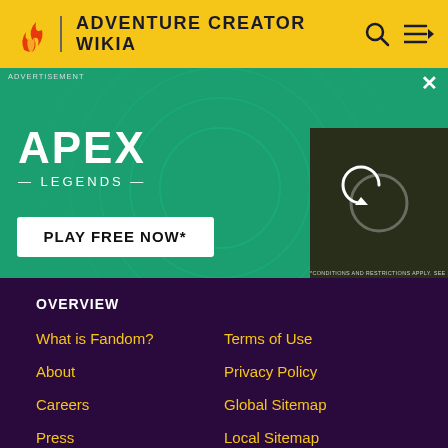ADVENTURE CREATOR WIKIA
[Figure (screenshot): Apex Legends advertisement banner with game character holding a sniper rifle on green background. Text reads APEX LEGENDS and PLAY FREE NOW. Second panel shows close-up of character face with a refresh/loading icon. Small text: *CONDITIONS AND RESTRICTIONS APPLY. SEE EACOM/LEGAL FOR DETAILS]
OVERVIEW
What is Fandom?
Terms of Use
About
Privacy Policy
Careers
Global Sitemap
Press
Local Sitemap
Contact